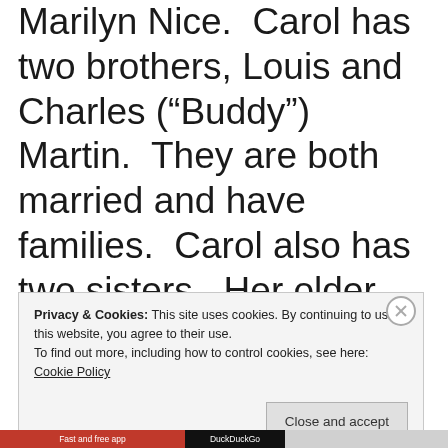Marilyn Nice. Carol has two brothers, Louis and Charles (“Buddy”) Martin. They are both married and have families. Carol also has two sisters. Her older sister experienced late stage breast cancer and died before I knew her. I don’t know alot about her older
Privacy & Cookies: This site uses cookies. By continuing to use this website, you agree to their use. To find out more, including how to control cookies, see here: Cookie Policy
Close and accept